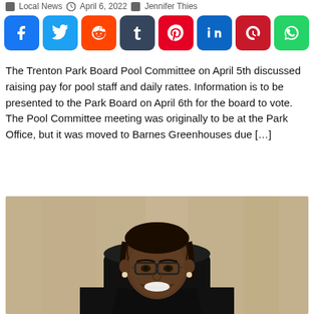Local News  April 6, 2022  Jennifer Thies
[Figure (infographic): Row of 8 social media share buttons: Facebook (blue), Twitter (light blue), Reddit (orange), Tumblr (dark blue), Pinterest (red), LinkedIn (blue), Parler (red-brown), WhatsApp (green)]
The Trenton Park Board Pool Committee on April 5th discussed raising pay for pool staff and daily rates. Information is to be presented to the Park Board on April 6th for the board to vote. The Pool Committee meeting was originally to be at the Park Office, but it was moved to Barnes Greenhouses due […]
[Figure (photo): Portrait photo of a smiling woman in judicial robes sitting in a chair, wearing glasses, with braided hair, against a neutral background.]